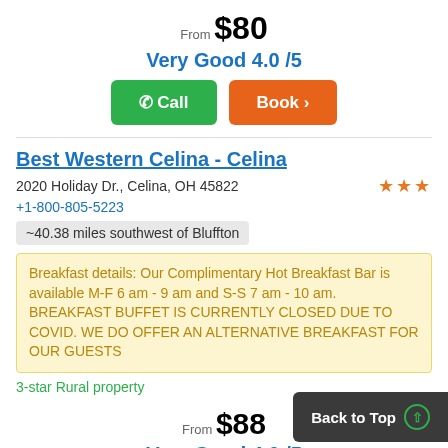From $80
Very Good 4.0 /5
Call   Book >
Best Western Celina - Celina
2020 Holiday Dr., Celina, OH 45822
+1-800-805-5223
~40.38 miles southwest of Bluffton
Breakfast details: Our Complimentary Hot Breakfast Bar is available M-F 6 am - 9 am and S-S 7 am - 10 am. BREAKFAST BUFFET IS CURRENTLY CLOSED DUE TO COVID. WE DO OFFER AN ALTERNATIVE BREAKFAST FOR OUR GUESTS
3-star Rural property
From $88
Very Good 4.0 /5
Back to Top